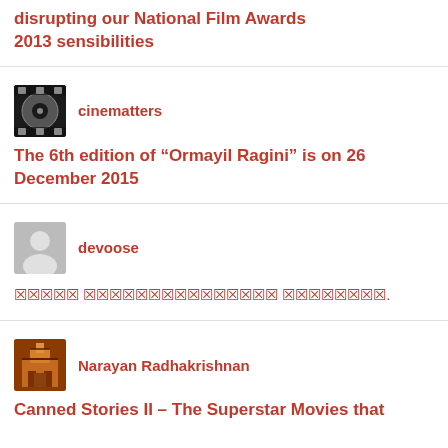disrupting our National Film Awards 2013 sensibilities
cinematters
The 6th edition of “Ormayil Ragini” is on 26 December 2015
devoose
☒☒☒☒☒ ☒☒☒☒☒☒☒☒☒☒☒☒☒☒☒ ☒☒☒☒☒☒☒☒.
Narayan Radhakrishnan
Canned Stories II – The Superstar Movies that